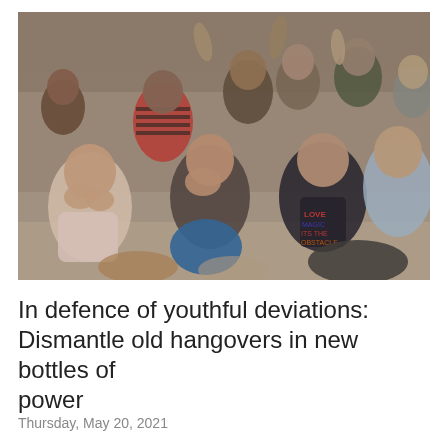[Figure (photo): A large crowd of young Indian students sitting on the floor, many with distressed or shocked expressions, some covering their mouths or faces with their hands. They appear to be watching something intently.]
In defence of youthful deviations: Dismantle old hangovers in new bottles of power
Thursday, May 20, 2021